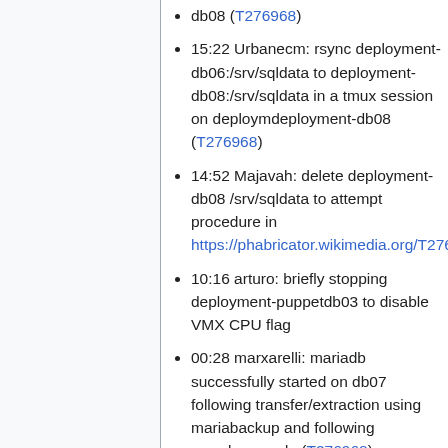db08 (T276968)
15:22 Urbanecm: rsync deployment-db06:/srv/sqldata to deployment-db08:/srv/sqldata in a tmux session on deploymdeployment-db08 (T276968)
14:52 Majavah: delete deployment-db08 /srv/sqldata to attempt procedure in https://phabricator.wikimedia.org/T276968#6900199
10:16 arturo: briefly stopping deployment-puppetdb03 to disable VMX CPU flag
00:28 marxarelli: mariadb successfully started on db07 following transfer/extraction using mariabackup and following mysql_upgrade (T276968)
00:10 marxarelli: restore of db06